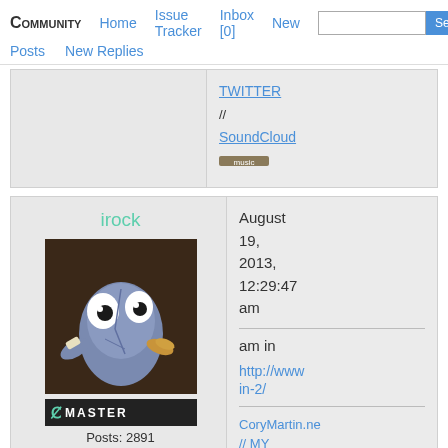Community  Home  Issue Tracker  Inbox [0]  New  Posts  New Replies  Search
[Figure (screenshot): Partial post card showing links: TWITTER // SoundCloud and a small image]
irock
[Figure (illustration): Avatar image of a cartoon rock character with eyes and arms on dark background]
C MASTER  Posts: 2891
August 19, 2013, 12:29:47 am
am in
http://www...in-2/
CoryMartin.ne // MY